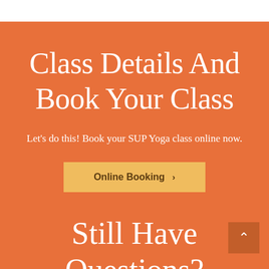Class Details And Book Your Class
Let's do this! Book your SUP Yoga class online now.
Online Booking ›
Still Have Questions?